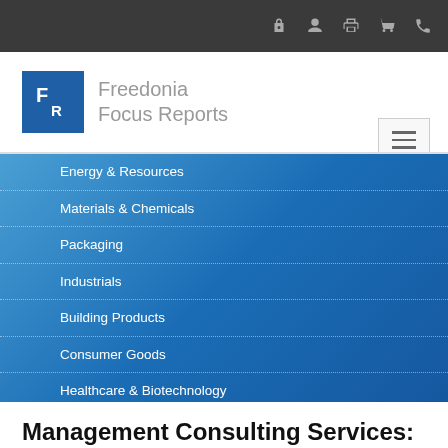Navigation icons: lock, person, print, cart, phone
[Figure (logo): Freedonia Focus Reports logo: blue square with white FR letters, gray text 'Freedonia Focus Reports']
Energy & Resources
Materials & Chemicals
Packaging
Industrials
Building Products
Consumer Goods
Healthcare & Biotechnology
Services & Industries
Management Consulting Services: United States